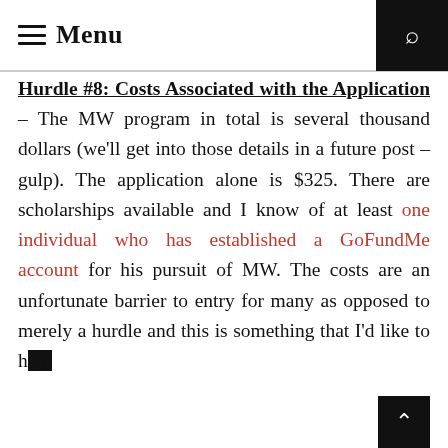≡ Menu
Hurdle #8: Costs Associated with the Application – The MW program in total is several thousand dollars (we'll get into those details in a future post – gulp). The application alone is $325. There are scholarships available and I know of at least one individual who has established a GoFundMe account for his pursuit of MW. The costs are an unfortunate barrier to entry for many as opposed to merely a hurdle and this is something that I'd like to help